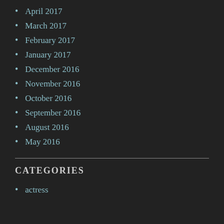April 2017
March 2017
February 2017
January 2017
December 2016
November 2016
October 2016
September 2016
August 2016
May 2016
CATEGORIES
actress